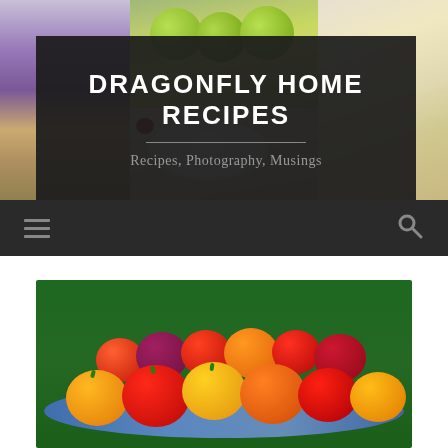[Figure (photo): Website header collage of food photos including green limes/fruits, purple lavender flowers, a bowl, and a slice of cake]
DRAGONFLY HOME RECIPES
Recipes, Photography, Musings
[Figure (screenshot): Dark navigation bar with hamburger menu icon on the left and search icon on the right]
[Figure (photo): Close-up photo of colorful cherry tomatoes (red, yellow, orange) in a blue-rimmed bowl against a green background]